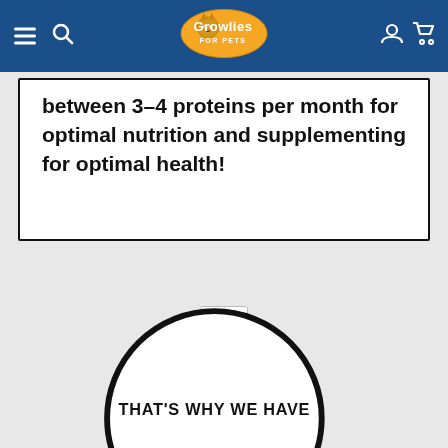Growlies For Pets - navigation bar
between 3-4 proteins per month for optimal nutrition and supplementing for optimal health!
1
[Figure (illustration): Partial circular graphic with bold text 'THAT'S WHY WE HAVE' inside a thick black circle outline, partially visible at bottom of page]